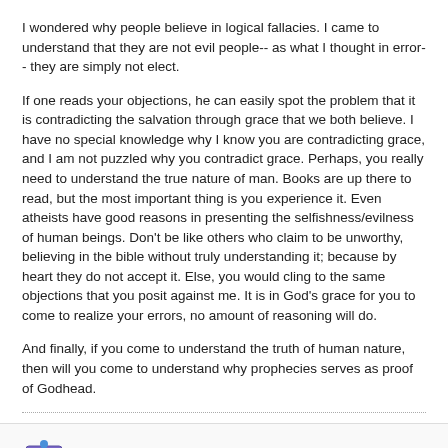I wondered why people believe in logical fallacies. I came to understand that they are not evil people-- as what I thought in error-- they are simply not elect.
If one reads your objections, he can easily spot the problem that it is contradicting the salvation through grace that we both believe. I have no special knowledge why I know you are contradicting grace, and I am not puzzled why you contradict grace. Perhaps, you really need to understand the true nature of man. Books are up there to read, but the most important thing is you experience it. Even atheists have good reasons in presenting the selfishness/evilness of human beings. Don't be like others who claim to be unworthy, believing in the bible without truly understanding it; because by heart they do not accept it. Else, you would cling to the same objections that you posit against me. It is in God's grace for you to come to realize your errors, no amount of reasoning will do.
And finally, if you come to understand the truth of human nature, then will you come to understand why prophecies serves as proof of Godhead.
Christianbookworm replied
11-07-2014, 01:09 PM
So, why does your belief matter to me? If your right, I can't do anything about it.